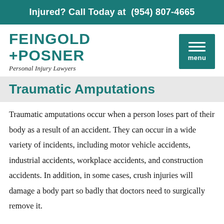Injured? Call Today at (954) 807-4665
[Figure (logo): Feingold + Posner Personal Injury Lawyers logo in teal with menu button]
Traumatic Amputations
Traumatic amputations occur when a person loses part of their body as a result of an accident. They can occur in a wide variety of incidents, including motor vehicle accidents, industrial accidents, workplace accidents, and construction accidents. In addition, in some cases, crush injuries will damage a body part so badly that doctors need to surgically remove it.